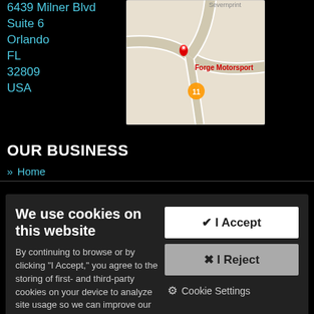6439 Milner Blvd
Suite 6
Orlando
FL
32809
USA
[Figure (map): Google Maps snippet showing location of Forge Motorsport with a red pin marker, labeled 'Forge Motorsport', near a road intersection. 'Severnprint' visible at top.]
OUR BUSINESS
Home
We use cookies on this website
By continuing to browse or by clicking "I Accept," you agree to the storing of first- and third-party cookies on your device to analyze site usage so we can improve our site, provide better service and use Paypal. Find out more in our Cookie Policy.
✔ I Accept
✖ I Reject
⚙ Cookie Settings